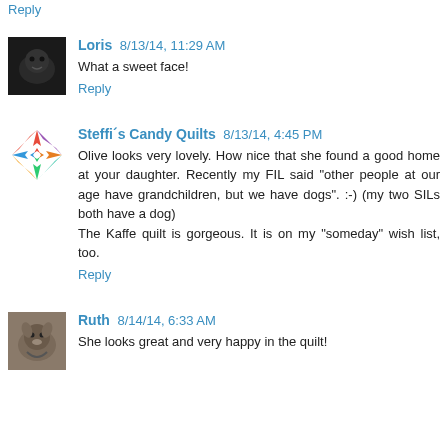Reply
[Figure (photo): Avatar image of Loris - dark colored, appears to be a cat or dog photo]
Loris 8/13/14, 11:29 AM
What a sweet face!
Reply
[Figure (photo): Avatar image of Steffi's Candy Quilts - colorful star quilt pattern]
Steffi´s Candy Quilts 8/13/14, 4:45 PM
Olive looks very lovely. How nice that she found a good home at your daughter. Recently my FIL said "other people at our age have grandchildren, but we have dogs". :-) (my two SILs both have a dog)
The Kaffe quilt is gorgeous. It is on my "someday" wish list, too.
Reply
[Figure (photo): Avatar image of Ruth - appears to be a dog photo]
Ruth 8/14/14, 6:33 AM
She looks great and very happy in the quilt!